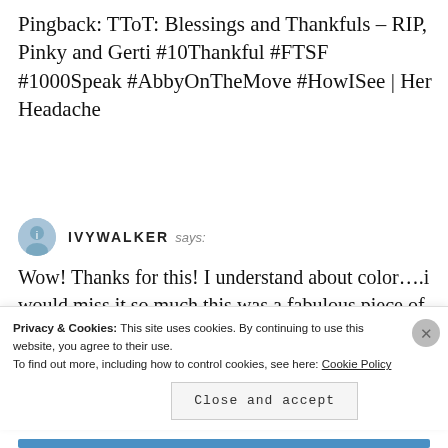Pingback: TToT: Blessings and Thankfuls – RIP, Pinky and Gerti #10Thankful #FTSF #1000Speak #AbbyOnTheMove #HowISee | Her Headache
IVYWALKER says:
Wow! Thanks for this! I understand about color….i would miss it so much.this was a fabulous piece of writing!
Privacy & Cookies: This site uses cookies. By continuing to use this website, you agree to their use.
To find out more, including how to control cookies, see here: Cookie Policy
Close and accept